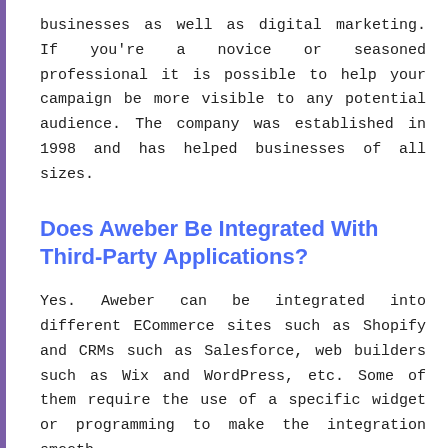businesses as well as digital marketing. If you're a novice or seasoned professional it is possible to help your campaign be more visible to any potential audience. The company was established in 1998 and has helped businesses of all sizes.
Does Aweber Be Integrated With Third-Party Applications?
Yes. Aweber can be integrated into different ECommerce sites such as Shopify and CRMs such as Salesforce, web builders such as Wix and WordPress, etc. Some of them require the use of a specific widget or programming to make the integration smooth.
Does Aweber Have Support For Customers?
They can. Customer service on Aweber is accessible during